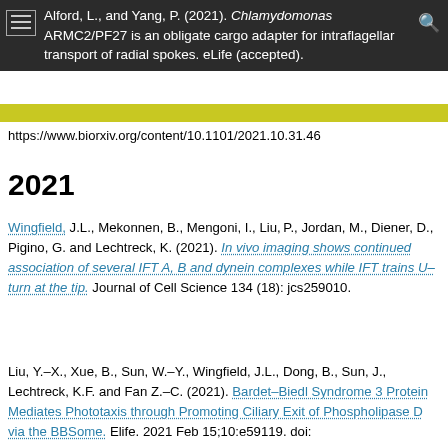Alford, L., and Yang, P. (2021). Chlamydomonas ARMC2/PF27 is an obligate cargo adapter for intraflagellar transport of radial spokes. eLife (accepted).
https://www.biorxiv.org/content/10.1101/2021.10.31.46
2021
Wingfield, J.L., Mekonnen, B., Mengoni, I., Liu, P., Jordan, M., Diener, D., Pigino, G. and Lechtreck, K. (2021). In vivo imaging shows continued association of several IFT A, B and dynein complexes while IFT trains U–turn at the tip. Journal of Cell Science 134 (18): jcs259010.
Liu, Y.–X., Xue, B., Sun, W.–Y., Wingfield, J.L., Dong, B., Sun, J., Lechtreck, K.F. and Fan Z.–C. (2021). Bardet–Biedl Syndrome 3 Protein Mediates Phototaxis through Promoting Ciliary Exit of Phospholipase D via the BBSome. eLife. 2021 Feb 15;10:e59119. doi: